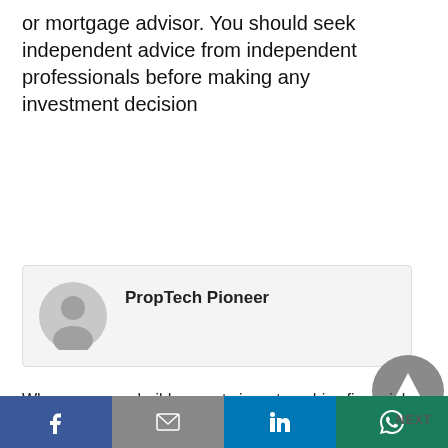or mortgage advisor. You should seek independent advice from independent professionals before making any investment decision
[Figure (illustration): Author avatar: circular grey silhouette of a person (generic user icon)]
PropTech Pioneer
Where can new build property investors drive financial
Facebook share | Gmail/Email share | LinkedIn share | WhatsApp share